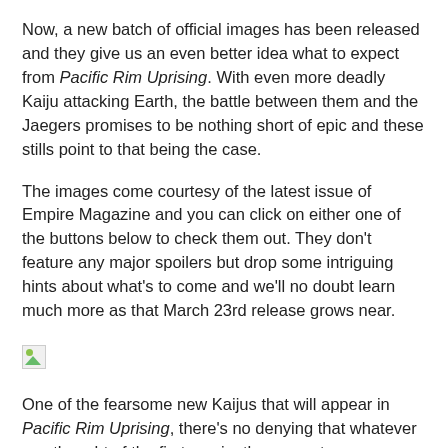Now, a new batch of official images has been released and they give us an even better idea what to expect from Pacific Rim Uprising. With even more deadly Kaiju attacking Earth, the battle between them and the Jaegers promises to be nothing short of epic and these stills point to that being the case.
The images come courtesy of the latest issue of Empire Magazine and you can click on either one of the buttons below to check them out. They don't feature any major spoilers but drop some intriguing hints about what's to come and we'll no doubt learn much more as that March 23rd release grows near.
[Figure (photo): Broken/placeholder image icon (small thumbnail with green color)]
One of the fearsome new Kaijus that will appear in Pacific Rim Uprising, there's no denying that whatever you thought of the first movie, these creatures were definitely a sight to behold.